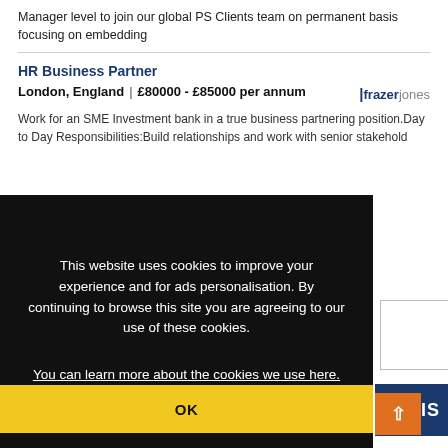Manager level to join our global PS Clients team on permanent basis focusing on embedding
HR Business Partner
London, England | £80000 - £85000 per annum
Work for an SME Investment bank in a true business partnering position.Day to Day Responsibilities:Build relationships and work with senior stakehold
This website uses cookies to improve your experience and for ads personalisation. By continuing to browse this site you are agreeing to our use of these cookies.
You can learn more about the cookies we use here.
OK